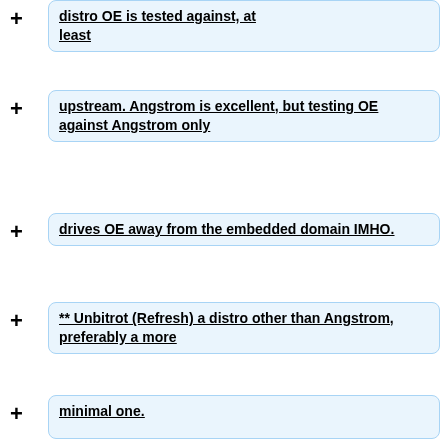distro OE is tested against, at least
upstream. Angstrom is excellent, but testing OE against Angstrom only
drives OE away from the embedded domain IMHO.
** Unbitrot (Refresh) a distro other than Angstrom, preferably a more
minimal one.
* Documentation.
** It's there, but you have to know what you are looking for.